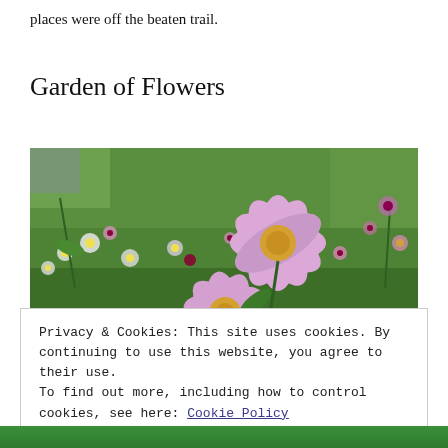places were off the beaten trail.
Garden of Flowers
[Figure (photo): A garden scene with pink and white cosmos flowers in the foreground against a lush green grass background. Large pink cosmos flowers with yellow centers are prominent in the center.]
Privacy & Cookies: This site uses cookies. By continuing to use this website, you agree to their use.
To find out more, including how to control cookies, see here: Cookie Policy
Close and accept